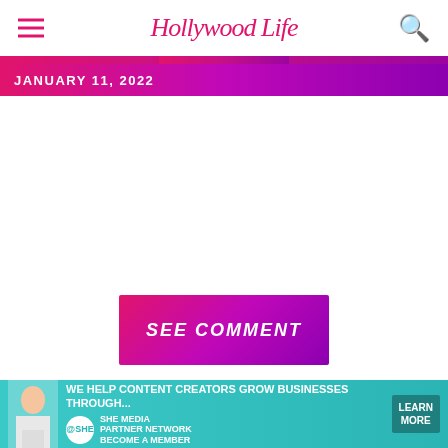HollywoodLife
JANUARY 11, 2022
[Figure (other): SEE COMMENT button with pink-to-purple gradient background]
Lori Loughlin's Daughter Olivia Jade Pens Tribute To
[Figure (other): Bottom advertisement banner for SHE Media Partner Network: WE HELP CONTENT CREATORS GROW BUSINESSES THROUGH... LEARN MORE BECOME A MEMBER]